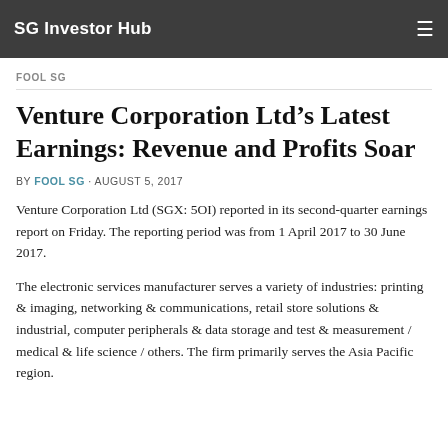SG Investor Hub
FOOL SG
Venture Corporation Ltd's Latest Earnings: Revenue and Profits Soar
BY FOOL SG · AUGUST 5, 2017
Venture Corporation Ltd (SGX: 5OI) reported in its second-quarter earnings report on Friday. The reporting period was from 1 April 2017 to 30 June 2017.
The electronic services manufacturer serves a variety of industries: printing & imaging, networking & communications, retail store solutions & industrial, computer peripherals & data storage and test & measurement / medical & life science / others. The firm primarily serves the Asia Pacific region.